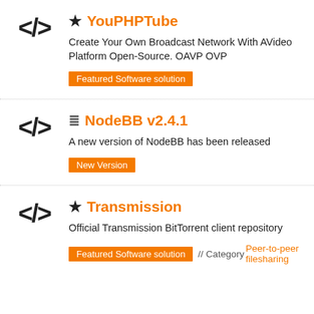YouPHPTube — Create Your Own Broadcast Network With AVideo Platform Open-Source. OAVP OVP — Featured Software solution
NodeBB v2.4.1 — A new version of NodeBB has been released — New Version
Transmission — Official Transmission BitTorrent client repository — Featured Software solution // Category Peer-to-peer filesharing